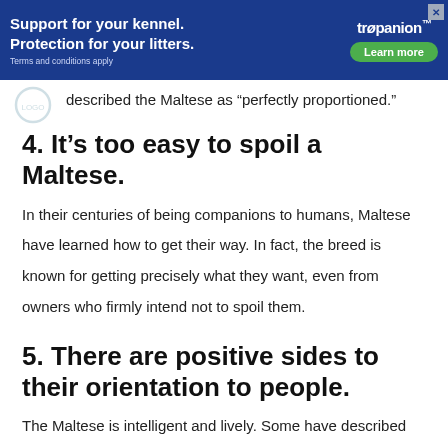[Figure (other): Trupanion advertisement banner: 'Support for your kennel. Protection for your litters.' with a 'Learn more' button and Trupanion logo on a blue background.]
described the Maltese as “perfectly proportioned.”
4. It’s too easy to spoil a Maltese.
In their centuries of being companions to humans, Maltese have learned how to get their way. In fact, the breed is known for getting precisely what they want, even from owners who firmly intend not to spoil them.
5. There are positive sides to their orientation to people.
The Maltese is intelligent and lively. Some have described him as a charming ham. And because he’s so people-focused,